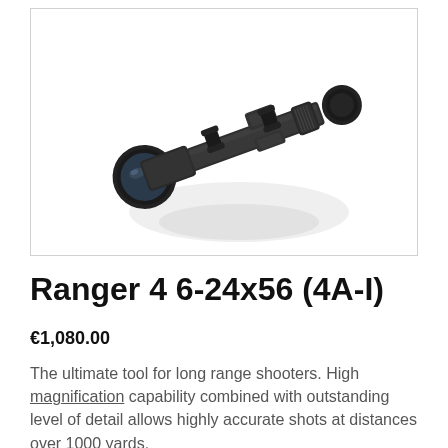[Figure (photo): A black rifle scope (Ranger 4 6-24x56) photographed against a white background with a slight shadow/reflection below it.]
Ranger 4 6-24x56 (4A-I)
€1,080.00
The ultimate tool for long range shooters. High magnification capability combined with outstanding level of detail allows highly accurate shots at distances over 1000 yards.